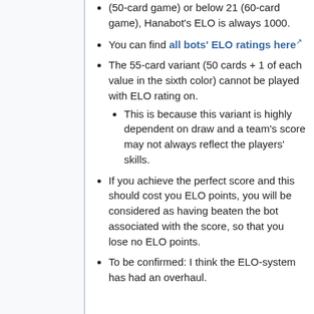(50-card game) or below 21 (60-card game), Hanabot's ELO is always 1000.
You can find all bots' ELO ratings here [external link]
The 55-card variant (50 cards + 1 of each value in the sixth color) cannot be played with ELO rating on.
This is because this variant is highly dependent on draw and a team's score may not always reflect the players' skills.
If you achieve the perfect score and this should cost you ELO points, you will be considered as having beaten the bot associated with the score, so that you lose no ELO points.
To be confirmed: I think the ELO-system has had an overhaul.